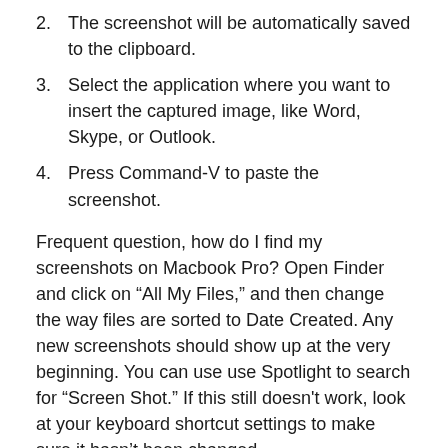2. The screenshot will be automatically saved to the clipboard.
3. Select the application where you want to insert the captured image, like Word, Skype, or Outlook.
4. Press Command-V to paste the screenshot.
Frequent question, how do I find my screenshots on Macbook Pro? Open Finder and click on “All My Files,” and then change the way files are sorted to Date Created. Any new screenshots should show up at the very beginning. You can use use Spotlight to search for “Screen Shot.” If this still doesn't work, look at your keyboard shortcut settings to make sure it hasn’t been changed.
Correspondingly, why can I not screenshot on my Mac? If the screenshot feature on your Mac isn’t working, shut down the Mac and turn it on again. Then take a screenshot according to one of the methods above that it had worked before.